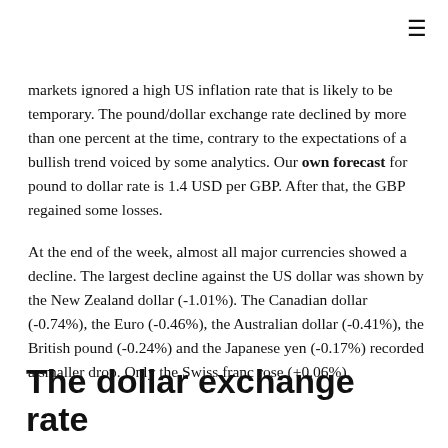≡
markets ignored a high US inflation rate that is likely to be temporary. The pound/dollar exchange rate declined by more than one percent at the time, contrary to the expectations of a bullish trend voiced by some analytics. Our own forecast for pound to dollar rate is 1.4 USD per GBP. After that, the GBP regained some losses.
At the end of the week, almost all major currencies showed a decline. The largest decline against the US dollar was shown by the New Zealand dollar (-1.01%). The Canadian dollar (-0.74%), the Euro (-0.46%), the Australian dollar (-0.41%), the British pound (-0.24%) and the Japanese yen (-0.17%) recorded a smaller drop. Only the Swiss franc rose (+0.06%).
The dollar exchange rate